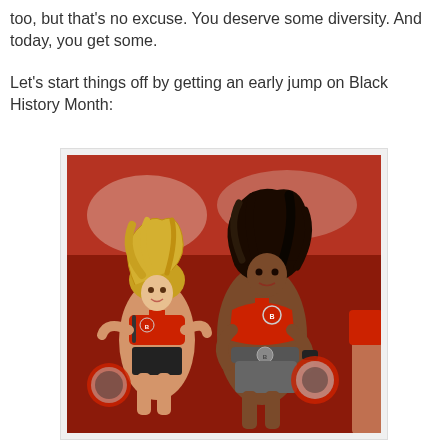too, but that's no excuse. You deserve some diversity. And today, you get some.
Let's start things off by getting an early jump on Black History Month:
[Figure (photo): Two NFL cheerleaders in Tampa Bay Buccaneers uniforms (red and black bikini tops with pom-poms) dancing energetically. One cheerleader has blonde hair flying, the other has dark curly hair. Both wear the Buccaneers logo on their outfits.]